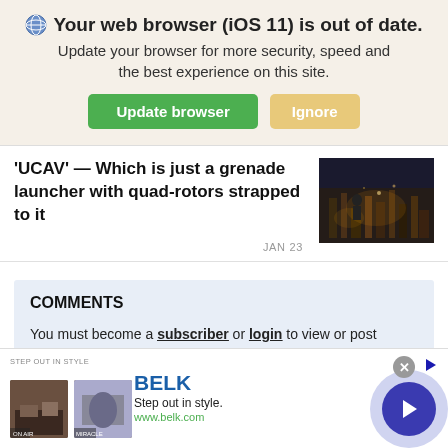Your web browser (iOS 11) is out of date. Update your browser for more security, speed and the best experience on this site.
Update browser | Ignore
'UCAV' — Which is just a grenade launcher with quad-rotors strapped to it
JAN 23
[Figure (photo): Dark sci-fi industrial interior scene]
COMMENTS
You must become a subscriber or login to view or post
[Figure (screenshot): BELK advertisement banner: Step out in style. www.belk.com with product images and arrow button]